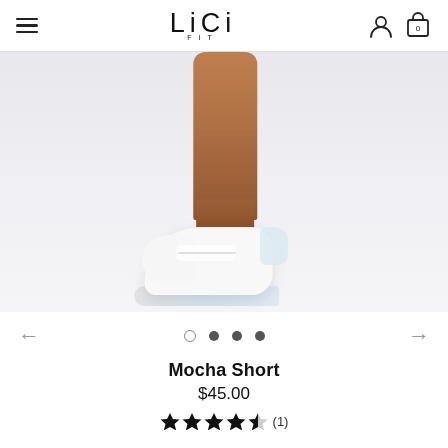LiCi FIT — navigation header with hamburger menu, logo, user icon, cart icon (0)
[Figure (photo): Product photo: back of woman's lower legs wearing white sneakers, studio background]
← ○ ● ● ● →
Mocha Short
$45.00
★★★★½ (1)